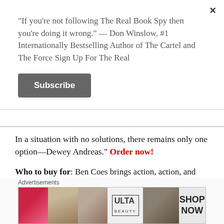“If you’re not following The Real Book Spy then you’re doing it wrong.” — Don Winslow, #1 Internationally Bestselling Author of The Cartel and The Force Sign Up For The Real
Subscribe
In a situation with no solutions, there remains only one option—Dewey Andreas.” Order now!
Who to buy for: Ben Coes brings action, action, and more action. Seriously, every page of First Strike rocks. If you’re shopping for someone who likes to feel their adrenaline pumping, this will get their heart racing!
Advertisements
[Figure (photo): ULTA beauty advertisement banner with cosmetic imagery including lips with lipstick, makeup brush, eye close-ups, ULTA logo, and SHOP NOW text]